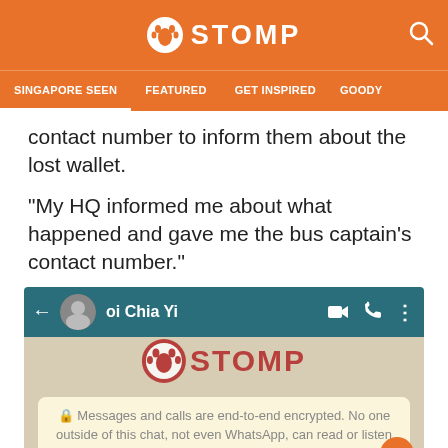STOMP
SINGAPORE SEEN | FEATURED | GET INSPIRED | GOODY
contact number to inform them about the lost wallet.
"My HQ informed me about what happened and gave me the bus captain's contact number."
[Figure (screenshot): Screenshot of a WhatsApp chat with contact named 'oi Chia Yi'. Shows a WhatsApp encryption notice: 'Messages and calls are end-to-end encrypted. No one outside of this chat, not even WhatsApp, can read or listen to them. Tap to learn more.' A STOMP watermark logo overlays the chat. Below the notice is a partial image of what appears to be a card or document.]